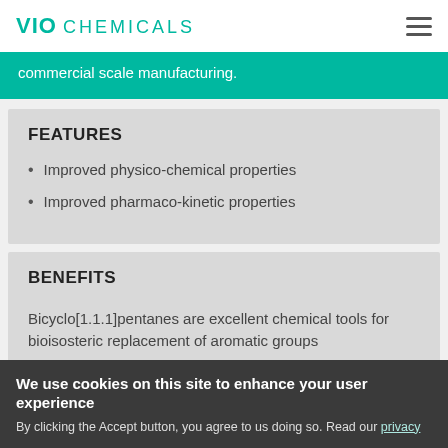VIO CHEMICALS
commercial scale manufacturing.
FEATURES
Improved physico-chemical properties
Improved pharmaco-kinetic properties
BENEFITS
Bicyclo[1.1.1]pentanes are excellent chemical tools for bioisosteric replacement of aromatic groups
We use cookies on this site to enhance your user experience
By clicking the Accept button, you agree to us doing so. Read our privacy